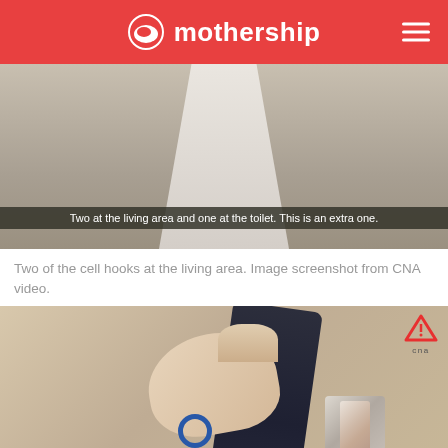mothership
[Figure (screenshot): Video screenshot showing a room interior with a subtitle reading: Two at the living area and one at the toilet. This is an extra one.]
Two of the cell hooks at the living area. Image screenshot from CNA video.
[Figure (photo): Photo of a hand holding dark clothing against a wall-mounted hook. A blue bracelet is visible on the wrist. CNA logo in top-right corner.]